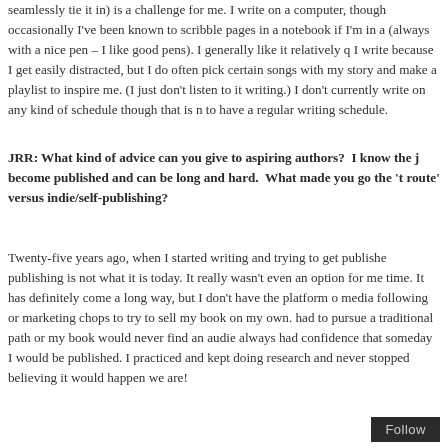seamlessly tie it in) is a challenge for me. I write on a computer, though occasionally I've been known to scribble pages in a notebook if I'm in a (always with a nice pen – I like good pens). I generally like it relatively q I write because I get easily distracted, but I do often pick certain songs with my story and make a playlist to inspire me. (I just don't listen to it writing.) I don't currently write on any kind of schedule though that is n to have a regular writing schedule.
JRR: What kind of advice can you give to aspiring authors?  I know the j become published and can be long and hard.  What made you go the 't route' versus indie/self-publishing?
Twenty-five years ago, when I started writing and trying to get publishe publishing is not what it is today. It really wasn't even an option for me time. It has definitely come a long way, but I don't have the platform o media following or marketing chops to try to sell my book on my own. had to pursue a traditional path or my book would never find an audie always had confidence that someday I would be published. I practiced and kept doing research and never stopped believing it would happen we are!